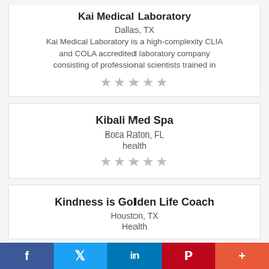Kai Medical Laboratory
Dallas, TX
Kai Medical Laboratory is a high-complexity CLIA and COLA accredited laboratory company consisting of professional scientists trained in
★★★★★
Kibali Med Spa
Boca Raton, FL
health
★★★★★
Kindness is Golden Life Coach
Houston, TX
Health
f  𝕏  in  𝙥  +